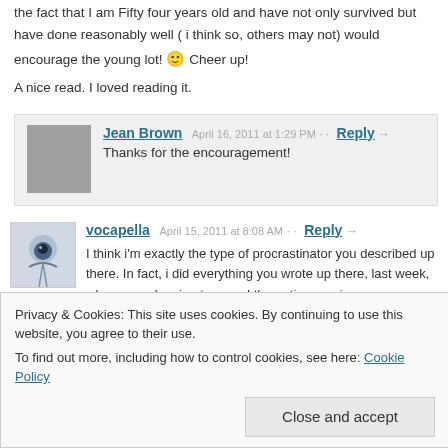I am a procrastinator, have always been throughout my life. And the fact that I am Fifty four years old and have not only survived but have done reasonably well ( i think so, others may not) would encourage the young lot! 🙂 Cheer up!
A nice read. I loved reading it.
Jean Brown  April 16, 2011 at 1:29 PM · Reply →
Thanks for the encouragement!
vocapella  April 15, 2011 at 8:08 AM · Reply →
I think i'm exactly the type of procrastinator you described up there. In fact, i did everything you wrote up there, last week, when was planning to spend the entire evening on thermodynamics revision. I
Privacy & Cookies: This site uses cookies. By continuing to use this website, you agree to their use.
To find out more, including how to control cookies, see here: Cookie Policy
Close and accept